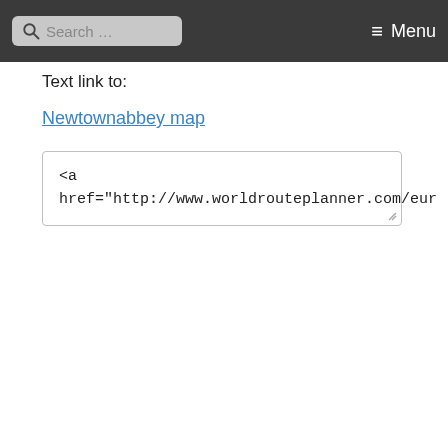Search ... Menu
Text link to:
Newtownabbey map
<a
href="http://www.worldrouteplanner.com/eur